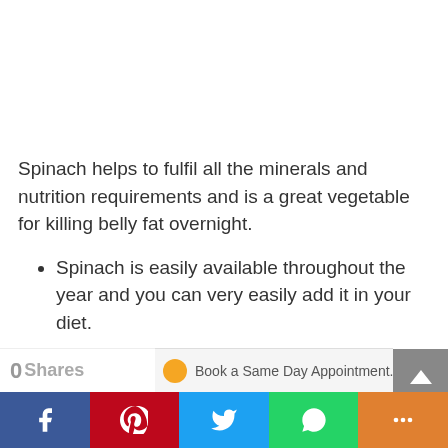Spinach helps to fulfil all the minerals and nutrition requirements and is a great vegetable for killing belly fat overnight.
Spinach is easily available throughout the year and you can very easily add it in your diet.
Insoluble fibre is found in abundance in spinach and it helps in weight loss.
0 Shares | Facebook | Pinterest | Twitter | WhatsApp | Share